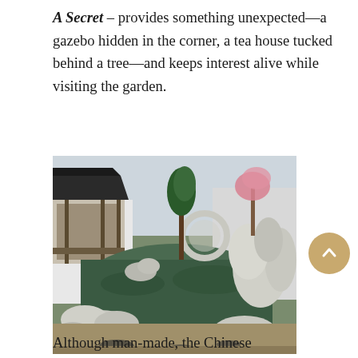A Secret – provides something unexpected—a gazebo hidden in the corner, a tea house tucked behind a tree—and keeps interest alive while visiting the garden.
[Figure (photo): A Chinese garden with a central rectangular pond surrounded by white limestone/scholar rocks, a traditional pavilion with dark curved roof tiles on the left, green conifer trees in the center-background, a pink flowering cherry tree on the right, and gravel paths in the foreground.]
Although man-made, the Chinese